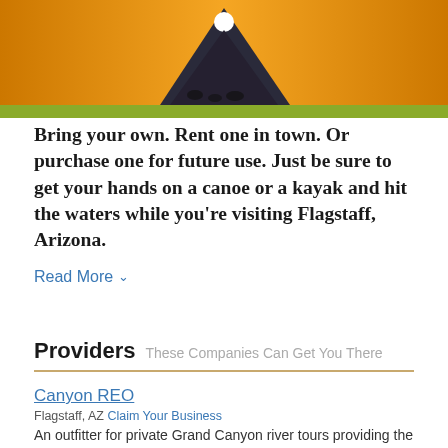[Figure (photo): A tent silhouette against an orange sunset sky with a bright white circular sun, and a green banner strip at the bottom of the photo.]
Bring your own. Rent one in town. Or purchase one for future use. Just be sure to get your hands on a canoe or a kayak and hit the waters while you're visiting Flagstaff, Arizona.
Read More ˅
Providers These Companies Can Get You There
Canyon REO
Flagstaff, AZ Claim Your Business
An outfitter for private Grand Canyon river tours providing the